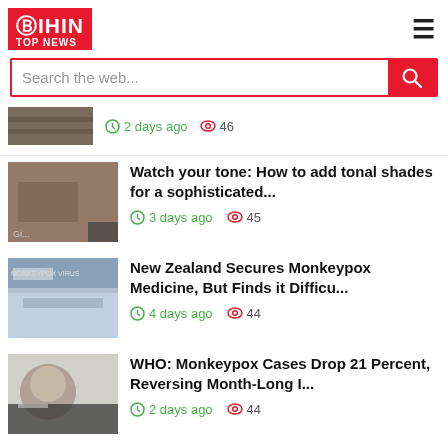[Figure (logo): BIHIN TOP NEWS logo in red background with white text]
Search the web...
2 days ago  46
Watch your tone: How to add tonal shades for a sophisticated...
3 days ago  45
New Zealand Secures Monkeypox Medicine, But Finds it Difficu...
4 days ago  44
WHO: Monkeypox Cases Drop 21 Percent, Reversing Month-Long I...
2 days ago  44